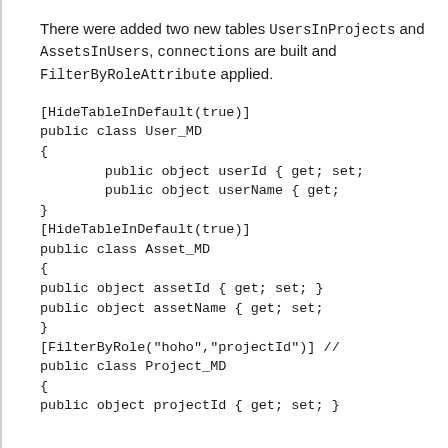There were added two new tables UsersInProjects and AssetsInUsers, connections are built and FilterByRoleAttribute applied.
[HideTableInDefault(true)]
public class User_MD
{
        public object userId { get; set;
        public object userName { get;
}
[HideTableInDefault(true)]
public class Asset_MD
{
public object assetId { get; set; }
public object assetName { get; set;
}
[FilterByRole("hoho","projectId")] //
public class Project_MD
{
public object projectId { get; set; }